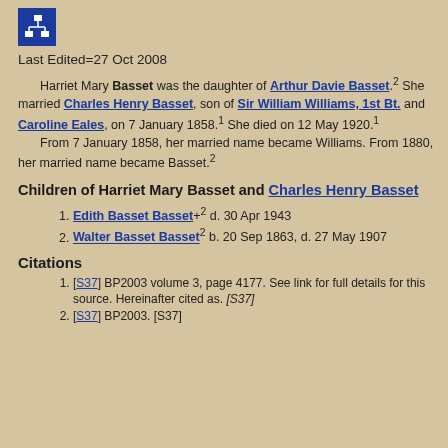[Figure (logo): Blue square icon with white org-chart/hierarchy symbol]
Last Edited=27 Oct 2008
Harriet Mary Basset was the daughter of Arthur Davie Basset.2 She married Charles Henry Basset, son of Sir William Williams, 1st Bt. and Caroline Eales, on 7 January 1858.1 She died on 12 May 1920.1
From 7 January 1858, her married name became Williams. From 1880, her married name became Basset.2
Children of Harriet Mary Basset and Charles Henry Basset
1. Edith Basset Basset+2 d. 30 Apr 1943
2. Walter Basset Basset2 b. 20 Sep 1863, d. 27 May 1907
Citations
1. [S37] BP2003 volume 3, page 4177. See link for full details for this source. Hereinafter cited as. [S37]
2. [S37] BP2003. [S37]